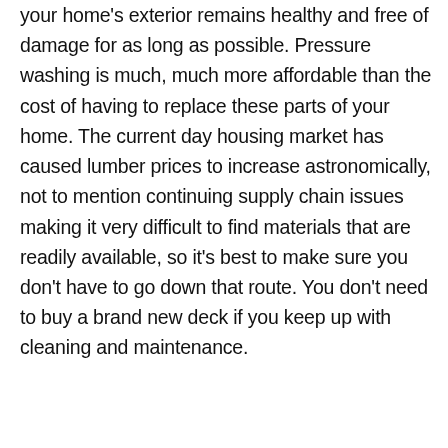your home's exterior remains healthy and free of damage for as long as possible. Pressure washing is much, much more affordable than the cost of having to replace these parts of your home. The current day housing market has caused lumber prices to increase astronomically, not to mention continuing supply chain issues making it very difficult to find materials that are readily available, so it's best to make sure you don't have to go down that route. You don't need to buy a brand new deck if you keep up with cleaning and maintenance.